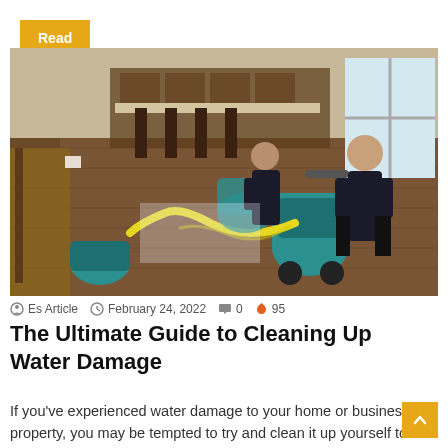Read More »
[Figure (photo): Two workers in dark uniforms operating large teal water extraction machines and yellow hoses on hardwood floors inside a home with kitchen visible in background — water damage restoration scene.]
Es Article  February 24, 2022  0  95
The Ultimate Guide to Cleaning Up Water Damage
If you've experienced water damage to your home or business property, you may be tempted to try and clean it up yourself to save money on